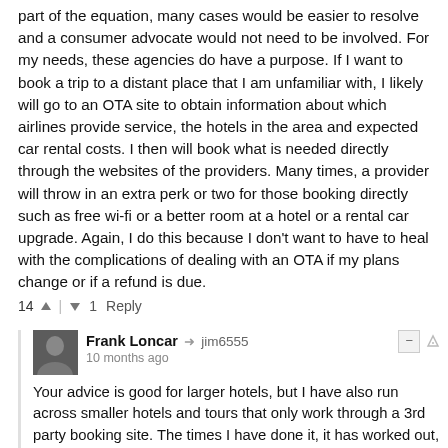part of the equation, many cases would be easier to resolve and a consumer advocate would not need to be involved. For my needs, these agencies do have a purpose. If I want to book a trip to a distant place that I am unfamiliar with, I likely will go to an OTA site to obtain information about which airlines provide service, the hotels in the area and expected car rental costs. I then will book what is needed directly through the websites of the providers. Many times, a provider will throw in an extra perk or two for those booking directly such as free wi-fi or a better room at a hotel or a rental car upgrade. Again, I do this because I don't want to have to heal with the complications of dealing with an OTA if my plans change or if a refund is due.
14 ^ | v 1 Reply
Frank Loncar → jim6555  10 months ago  Your advice is good for larger hotels, but I have also run across smaller hotels and tours that only work through a 3rd party booking site. The times I have done it, it has worked out, but it always get this image of tossing my money into a slot machine.